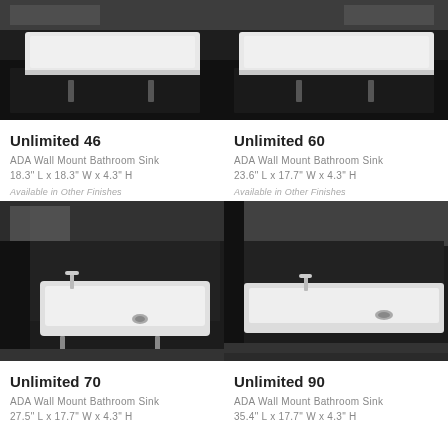[Figure (photo): ADA Wall Mount Bathroom Sink Unlimited 46, mounted on dark wall cabinet]
[Figure (photo): ADA Wall Mount Bathroom Sink Unlimited 60, mounted on dark wall cabinet]
Unlimited 46
ADA Wall Mount Bathroom Sink
18.3" L x 18.3" W x 4.3" H
Available in Other Finishes
Unlimited 60
ADA Wall Mount Bathroom Sink
23.6" L x 17.7" W x 4.3" H
Available in Other Finishes
[Figure (photo): ADA Wall Mount Bathroom Sink Unlimited 70, white rectangular sink with faucet on dark cabinet]
[Figure (photo): ADA Wall Mount Bathroom Sink Unlimited 90, wide white rectangular sink with faucet on dark surface]
Unlimited 70
ADA Wall Mount Bathroom Sink
27.5" L x 17.7" W x 4.3" H
Unlimited 90
ADA Wall Mount Bathroom Sink
35.4" L x 17.7" W x 4.3" H